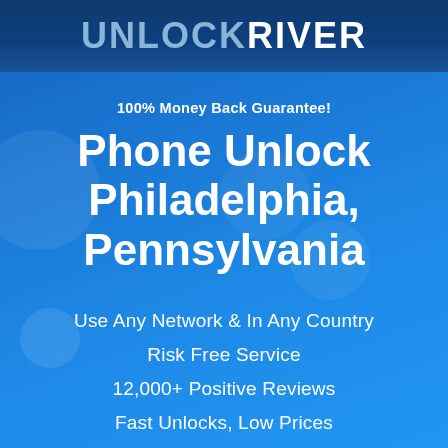UNLOCK RIVER
100% Money Back Guarantee!
Phone Unlock Philadelphia, Pennsylvania
Use Any Network & In Any Country
Risk Free Service
12,000+ Positive Reviews
Fast Unlocks, Low Prices